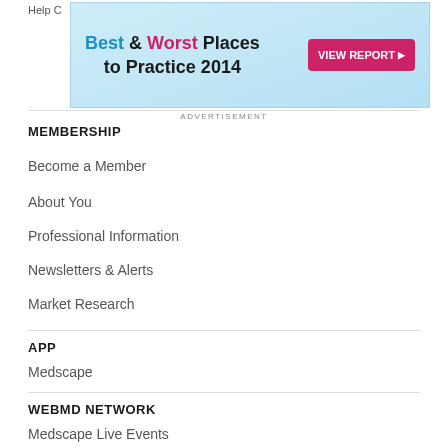Help C
[Figure (infographic): Advertisement banner: Best & Worst Places to Practice 2014 with VIEW REPORT button]
ADVERTISEMENT
MEMBERSHIP
Become a Member
About You
Professional Information
Newsletters & Alerts
Market Research
APP
Medscape
WEBMD NETWORK
Medscape Live Events
WebMD